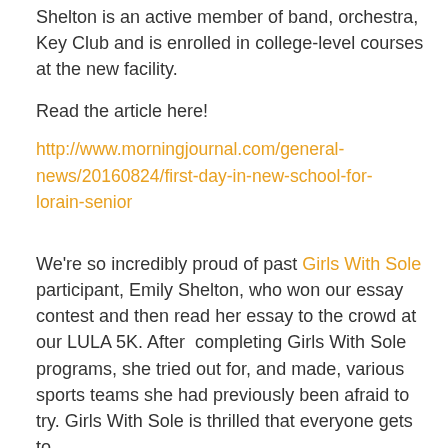Shelton is an active member of band, orchestra, Key Club and is enrolled in college-level courses at the new facility.
Read the article here!
http://www.morningjournal.com/general-news/20160824/first-day-in-new-school-for-lorain-senior
We're so incredibly proud of past Girls With Sole participant, Emily Shelton, who won our essay contest and then read her essay to the crowd at our LULA 5K. After  completing Girls With Sole programs, she tried out for, and made, various sports teams she had previously been afraid to try. Girls With Sole is thrilled that everyone gets to